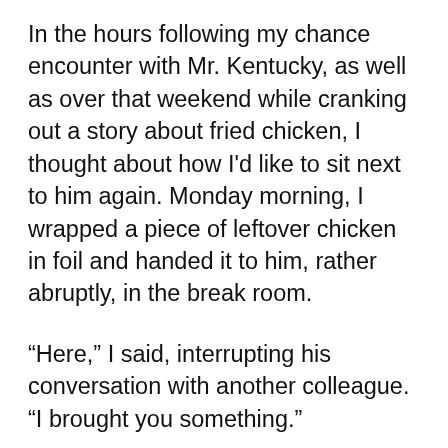In the hours following my chance encounter with Mr. Kentucky, as well as over that weekend while cranking out a story about fried chicken, I thought about how I'd like to sit next to him again. Monday morning, I wrapped a piece of leftover chicken in foil and handed it to him, rather abruptly, in the break room.
“Here,” I said, interrupting his conversation with another colleague. “I brought you something.”
Immediately I felt my cheeks get hot. What had I just done? Admittedly, it was a weird offering, but it felt as right as anything I’ve ever done. Besides, his reaction to my gesture would give me valuable insight.